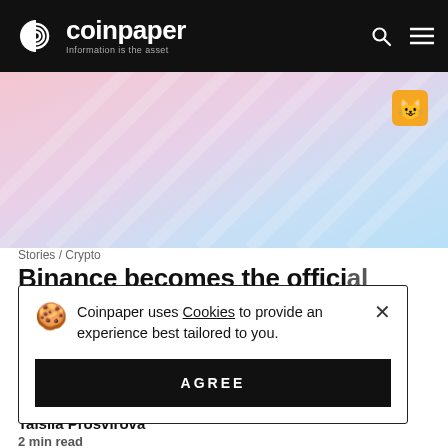coinpaper — Information is the asset
[Figure (illustration): Gradient hero background with pink and light blue diagonal streaks]
Stories / Crypto
Binance becomes the official...
Coinpaper uses Cookies to provide an experience best tailored to you. AGREE
enhanced fan experience.
Taisiia Prosvirova
2 min read